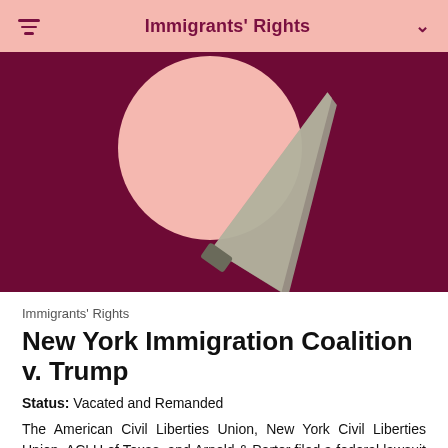Immigrants' Rights
[Figure (illustration): Dark maroon/burgundy banner with a large pink circle and a machete/knife overlaid on top, partially extending beyond the circle against the dark background.]
Immigrants' Rights
New York Immigration Coalition v. Trump
Status: Vacated and Remanded
The American Civil Liberties Union, New York Civil Liberties Union, ACLU of Texas, and Arnold & Porter filed a federal lawsuit July 2...
Visit case page